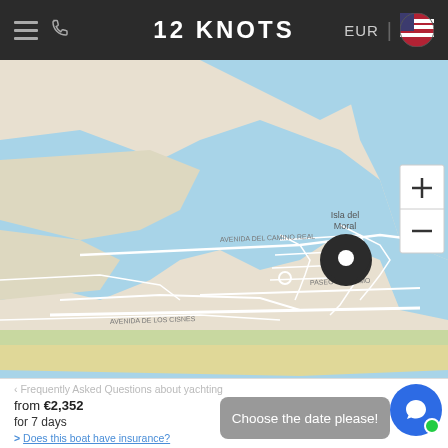12 KNOTS — EUR
[Figure (map): Map showing Isla del Moral coastal area in Spain with waterways, streets, and a location pin marker. Includes zoom in/out controls on the right side.]
Frequently Asked Questions about yachting
from €2,352
for 7 days
Choose the date please!
> Does this boat have insurance?